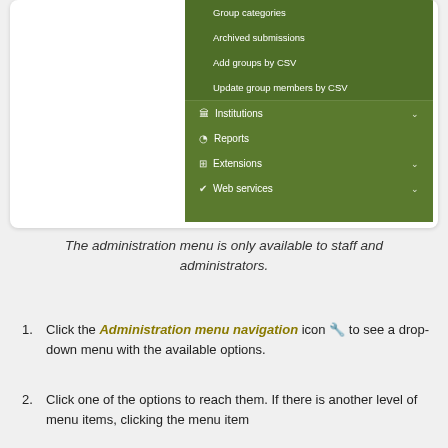[Figure (screenshot): Screenshot of administration navigation menu with dark green background showing menu items: Group categories, Archived submissions, Add groups by CSV, Update group members by CSV, Institutions (with chevron), Reports, Extensions (with chevron), Web services (with chevron)]
The administration menu is only available to staff and administrators.
Click the Administration menu navigation icon 🔧 to see a drop-down menu with the available options.
Click one of the options to reach them. If there is another level of menu items, clicking the menu item